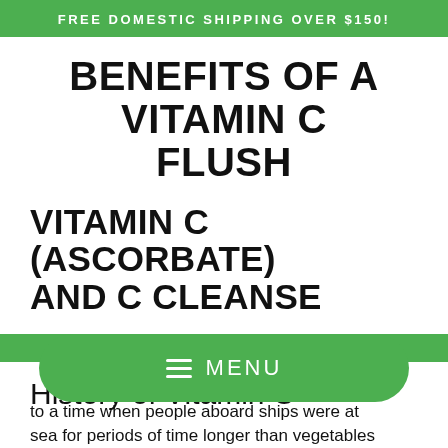FREE DOMESTIC SHIPPING OVER $150!
BENEFITS OF A VITAMIN C FLUSH
VITAMIN C (ASCORBATE) AND C CLEANSE
History of Vitamin C
to a time when people aboard ships were at sea for periods of time longer than vegetables